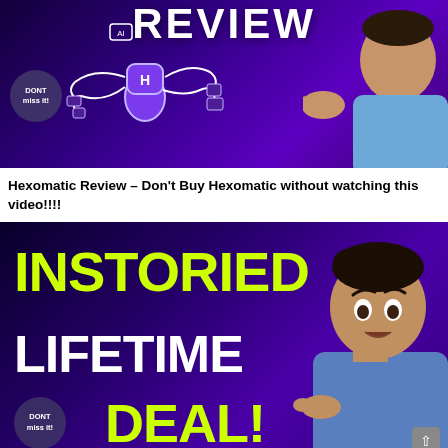[Figure (screenshot): YouTube thumbnail for Hexomatic Review with purple/dark background, robot/AI illustration in center, man pointing on right side, 'REVIEW' text at top, 'DONT miss it!' badge on left]
Hexomatic Review – Don't Buy Hexomatic without watching this video!!!!
[Figure (screenshot): YouTube thumbnail for Instoried Lifetime Deal with dark purple background, man with surprised expression on right, large yellow-green text 'INSTORIED' and white 'LIFETIME' and yellow-green 'DEAL!', 'DONT miss it!' badge bottom left, scroll-to-top button bottom right]